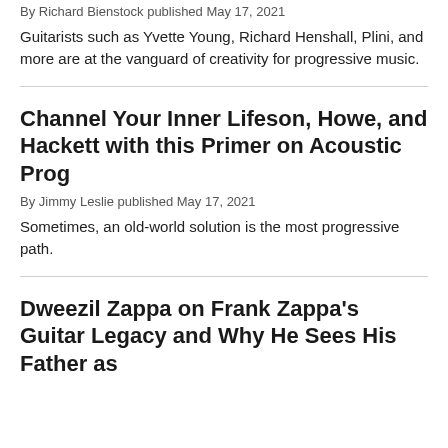By Richard Bienstock published May 17, 2021
Guitarists such as Yvette Young, Richard Henshall, Plini, and more are at the vanguard of creativity for progressive music.
Channel Your Inner Lifeson, Howe, and Hackett with this Primer on Acoustic Prog
By Jimmy Leslie published May 17, 2021
Sometimes, an old-world solution is the most progressive path.
Dweezil Zappa on Frank Zappa's Guitar Legacy and Why He Sees His Father as